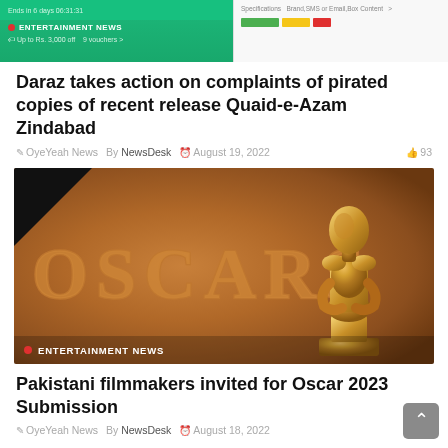[Figure (screenshot): Top banner showing entertainment news website header with green background on left side displaying 'ENTERTAINMENT NEWS' label with red dot and promotional text, and right side showing product specifications with colored bars]
Daraz takes action on complaints of pirated copies of recent release Quaid-e-Azam Zindabad
OyeYeah News  By NewsDesk  August 19, 2022  93
[Figure (photo): Photo of the Oscars sign with golden lettering and a golden Oscar statue in front of a brown/bronze background, with black corner top-left. ENTERTAINMENT NEWS label overlaid at bottom.]
Pakistani filmmakers invited for Oscar 2023 Submission
OyeYeah News  By NewsDesk  August 18, 2022  39